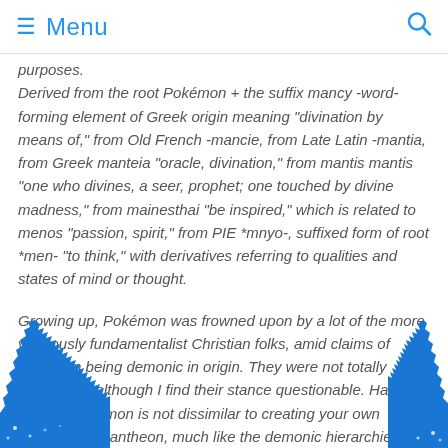≡ Menu 🔍
purposes. Derived from the root Pokémon + the suffix mancy -word-forming element of Greek origin meaning "divination by means of," from Old French -mancie, from Late Latin -mantia, from Greek manteia "oracle, divination," from mantis mantis "one who divines, a seer, prophet; one touched by divine madness," from mainesthai "be inspired," which is related to menos "passion, spirit," from PIE *mnyo-, suffixed form of root *men- "to think," with derivatives referring to qualities and states of mind or thought.
Growing up, Pokémon was frowned upon by a lot of the more vigorously fundamentalist Christian folks, amid claims of Pokémon being demonic in origin. They were not totally inaccurate, although I find their stance questionable. Having a team of pokemon is not dissimilar to creating your own hierarchy or pantheon, much like the demonic hierarchies. Pokémon draws inspiration from many cultures and mythos, philosophies and ideologies, and uses symbo